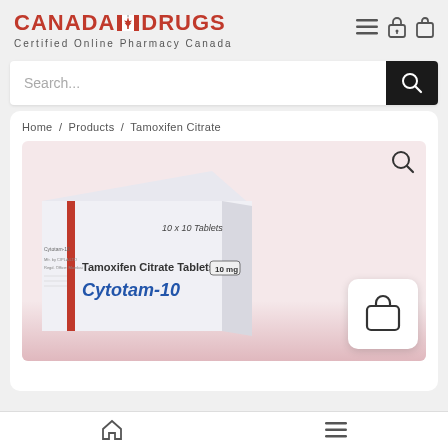[Figure (logo): Canada Drugs logo with Canadian flag maple leaf icon and red text]
Certified Online Pharmacy Canada
Search...
Home / Products / Tamoxifen Citrate
[Figure (photo): Photo of Cytotam-10 Tamoxifen Citrate Tablets I.P. 10mg medication box, 10x10 Tablets, with loose tablets visible at the bottom]